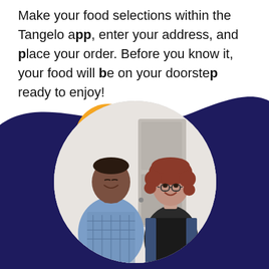Make your food selections within the Tangelo app, enter your address, and place your order. Before you know it, your food will be on your doorstep ready to enjoy!
[Figure (photo): Two people smiling in a kitchen setting. A man in a plaid blue shirt looks down, and a woman with curly reddish hair and glasses in a denim jacket smiles. Behind them is a navy wave background with a gold circle accent.]